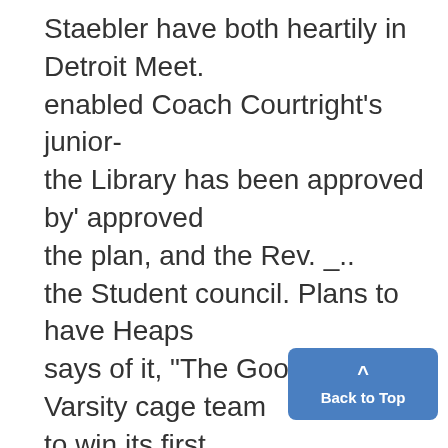Staebler have both heartily in Detroit Meet. enabled Coach Courtright's junior- the Library has been approved by' approved the plan, and the Rev. _.. the Student council. Plans to have Heaps says of it, "The Goodwill Varsity cage team to win its first the tradition observed by the stu- banquet should have the approval YACHT CLUB WINS POLO'game of the season from Kalama- dents are being formul-ated by the and support of all forward-looking last night on the Yost council. The action was taken a